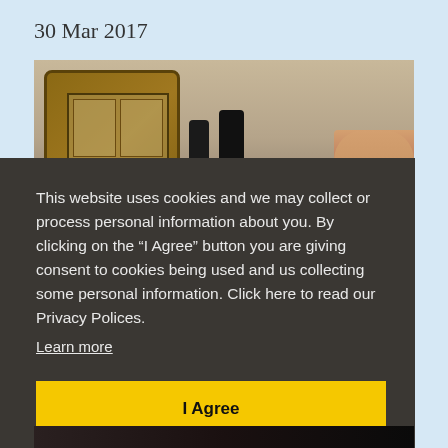30 Mar 2017
[Figure (photo): Interior photo showing a wooden door with glass panels, a hallway, and people including a young man smiling on the right side]
This website uses cookies and we may collect or process personal information about you. By clicking on the “I Agree” button you are giving consent to cookies being used and us collecting some personal information. Click here to read our Privacy Polices.
Learn more
I Agree